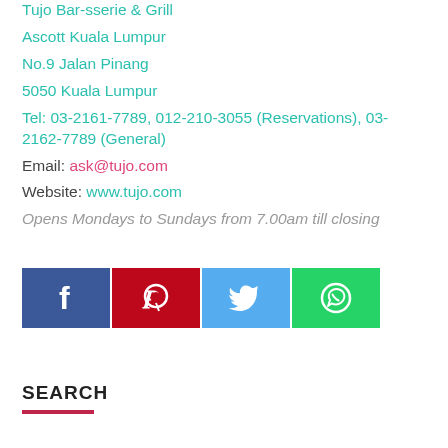Tujo Bar-sserie & Grill
Ascott Kuala Lumpur
No.9 Jalan Pinang
5050 Kuala Lumpur
Tel: 03-2161-7789, 012-210-3055 (Reservations), 03-2162-7789 (General)
Email: ask@tujo.com
Website: www.tujo.com
Opens Mondays to Sundays from 7.00am till closing
[Figure (infographic): Social media share buttons: Facebook (blue), Pinterest (red), Twitter (light blue), WhatsApp (green)]
SEARCH